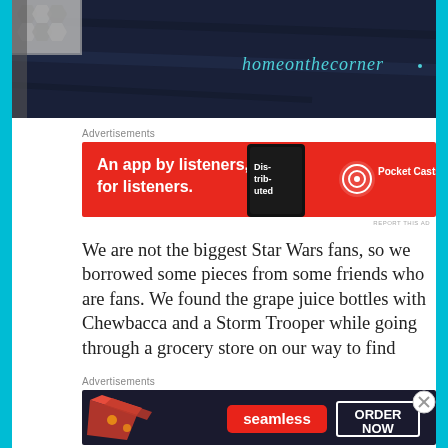[Figure (photo): Dark navy blue fabric/clothing close-up with 'homeonthecorner' text in teal cursive script, and a geometric patterned item visible at top left]
Advertisements
[Figure (other): Pocket Casts advertisement banner: red background with white text 'An app by listeners, for listeners.' and phone image with 'Dis-trib-uted' text. Pocket Casts logo on right.]
We are not the biggest Star Wars fans, so we borrowed some pieces from some friends who are fans. We found the grape juice bottles with Chewbacca and a Storm Trooper while going through a grocery store on our way to find
Advertisements
[Figure (other): Seamless food delivery advertisement: dark background with pizza slices on left, red Seamless logo in center, 'ORDER NOW' in white box on right.]